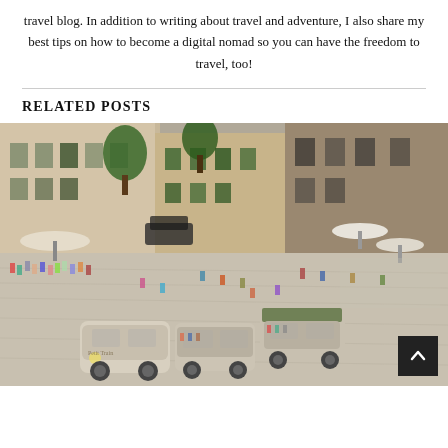travel blog. In addition to writing about travel and adventure, I also share my best tips on how to become a digital nomad so you can have the freedom to travel, too!
RELATED POSTS
[Figure (photo): Aerial view of a European town square with crowds of tourists, old stone buildings, trees, café seating under umbrellas, parked cars, and a small tourist train (road train) passing through the piazza.]